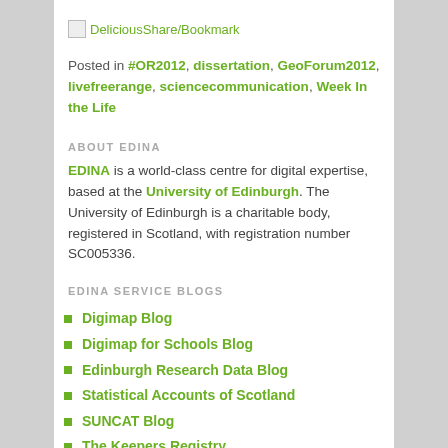[Figure (logo): DeliciousShare/Bookmark icon with broken image placeholder]
Posted in #OR2012, dissertation, GeoForum2012, livefreerange, sciencecommunication, Week In the Life
ABOUT EDINA
EDINA is a world-class centre for digital expertise, based at the University of Edinburgh. The University of Edinburgh is a charitable body, registered in Scotland, with registration number SC005336.
EDINA SERVICE BLOGS
Digimap Blog
Digimap for Schools Blog
Edinburgh Research Data Blog
Statistical Accounts of Scotland
SUNCAT Blog
The Keepers Registry
UK LOCKSS Alliance